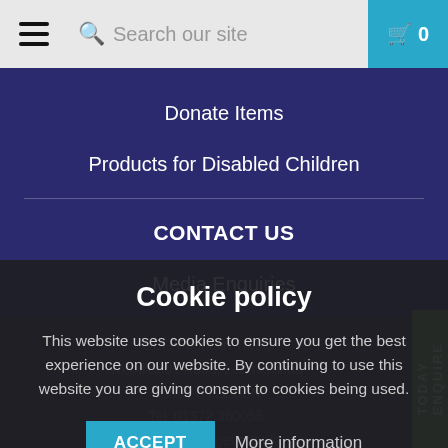Search our site | 0
Donate Items
Products for Disabled Children
CONTACT US
Media Enquiries
DONATE ONLINE
Cookie policy
This website uses cookies to ensure you get the best experience on our website. By continuing to use this website you are giving consent to cookies being used.
ACCEPT   More information